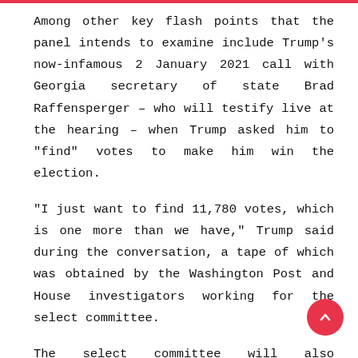Among other key flash points that the panel intends to examine include Trump's now-infamous 2 January 2021 call with Georgia secretary of state Brad Raffensperger – who will testify live at the hearing – when Trump asked him to "find" votes to make him win the election.
"I just want to find 11,780 votes, which is one more than we have," Trump said during the conversation, a tape of which was obtained by the Washington Post and House investigators working for the select committee.
The select committee will also reportedly describe Trump pressuring other state officials to investigate election fraud claims his own White House and campaign lawyers knew were false, relying on testimony from Arizona House speaker Rusty Bowers.